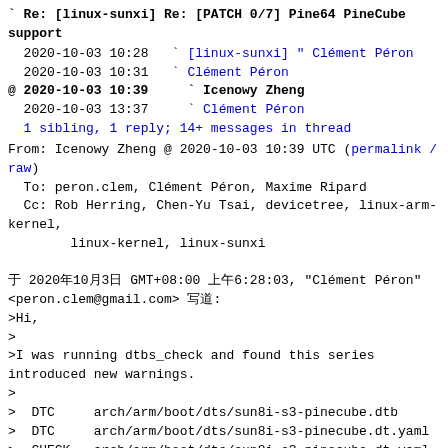Re: [linux-sunxi] Re: [PATCH 0/7] Pine64 PineCube support
2020-10-03 10:28   ` [linux-sunxi] " Clément Péron
2020-10-03 10:31   ` Clément Péron
@ 2020-10-03 10:39     ` Icenowy Zheng
  2020-10-03 13:37     ` Clément Péron
  1 sibling, 1 reply; 14+ messages in thread
From: Icenowy Zheng @ 2020-10-03 10:39 UTC (permalink / raw)
To: peron.clem, Clément Péron, Maxime Ripard
Cc: Rob Herring, Chen-Yu Tsai, devicetree, linux-arm-kernel,
        linux-kernel, linux-sunxi
于 2020年10月3日 GMT+08:00 上午6:28:03, "Clément Péron"
<peron.clem@gmail.com> 写道:
>Hi,
>
>I was running dtbs_check and found this series
introduced new warnings.
>
>  DTC     arch/arm/boot/dts/sun8i-s3-pinecube.dtb
>  DTC     arch/arm/boot/dts/sun8i-s3-pinecube.dt.yaml
>  CHECK   arch/arm/boot/dts/sun8i-s3-pinecube.dt.yaml
>/arch/arm/boot/dts/sun8i-s3-pinecube.dt.yaml: system-control@1c00000:
>compatible: ['allwinner,sun8i-v3s-system-control',
>'allwinner,sun8i-h3-system-control'] is not valid